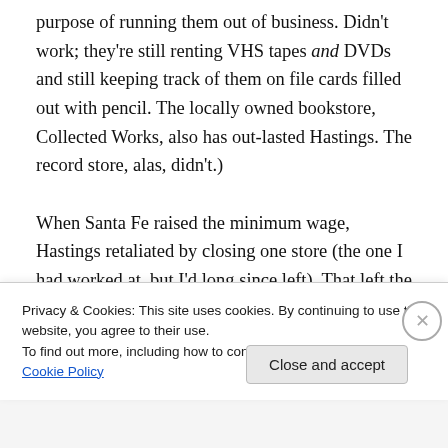purpose of running them out of business. Didn't work; they're still renting VHS tapes and DVDs and still keeping track of them on file cards filled out with pencil. The locally owned bookstore, Collected Works, also has out-lasted Hastings. The record store, alas, didn't.)

When Santa Fe raised the minimum wage, Hastings retaliated by closing one store (the one I had worked at, but I'd long since left). That left the one in the DeVargas Mall Center, which needed a viable store badly at the time as malls themselves were being rattled by changes in
Privacy & Cookies: This site uses cookies. By continuing to use this website, you agree to their use.
To find out more, including how to control cookies, see here: Cookie Policy
Close and accept